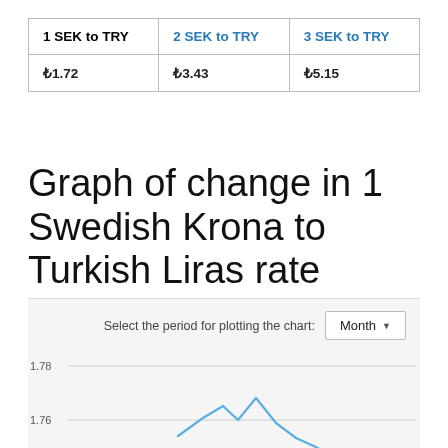| 1 SEK to TRY | 2 SEK to TRY | 3 SEK to TRY |
| --- | --- | --- |
| ₺1.72 | ₺3.43 | ₺5.15 |
Graph of change in 1 Swedish Krona to Turkish Liras rate
[Figure (line-chart): Line chart showing SEK to TRY exchange rate over a month period. Y-axis shows values 1.76 and 1.78 visible. A blue line chart is partially visible at the bottom showing fluctuation around 1.76-1.78 range.]